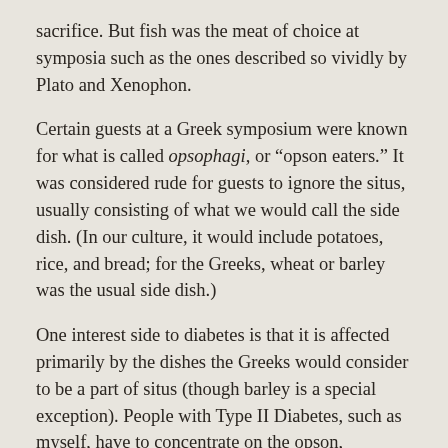sacrifice. But fish was the meat of choice at symposia such as the ones described so vividly by Plato and Xenophon.
Certain guests at a Greek symposium were known for what is called opsophagi, or “opson eaters.” It was considered rude for guests to ignore the situs, usually consisting of what we would call the side dish. (In our culture, it would include potatoes, rice, and bread; for the Greeks, wheat or barley was the usual side dish.)
One interest side to diabetes is that it is affected primarily by the dishes the Greeks would consider to be a part of situs (though barley is a special exception). People with Type II Diabetes, such as myself, have to concentrate on the opson, supplementing it with vegetables and fruit.
You can now consider me an opsophagos, though I wouldn’t call it to my face.